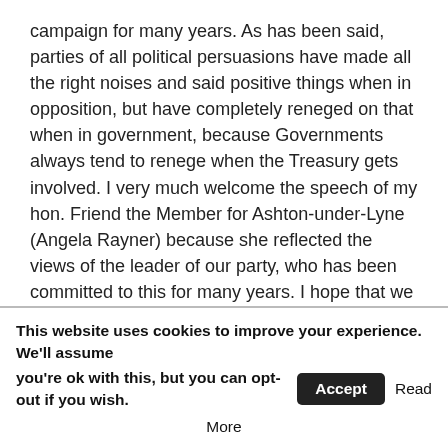campaign for many years. As has been said, parties of all political persuasions have made all the right noises and said positive things when in opposition, but have completely reneged on that when in government, because Governments always tend to renege when the Treasury gets involved. I very much welcome the speech of my hon. Friend the Member for Ashton-under-Lyne (Angela Rayner) because she reflected the views of the leader of our party, who has been committed to this for many years. I hope that we will now treat this campaign very seriously and be strong supporters of it.
I pay tribute to John Markham, who for many years has continued to push this issue with the International Consortium of British Pensioners, the global coalition of all the various campaign groups. He has kept going, as have all his supporters,
This website uses cookies to improve your experience. We'll assume you're ok with this, but you can opt-out if you wish. Accept Read More